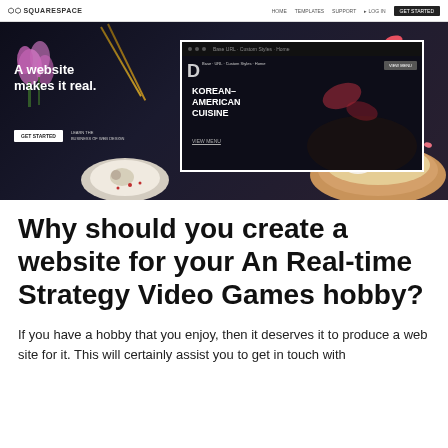[Figure (screenshot): Squarespace website builder homepage screenshot showing 'A website makes it real.' tagline with Korean-American Cuisine restaurant template preview, food photography with knife, plate, bowl, chopsticks]
Why should you create a website for your An Real-time Strategy Video Games hobby?
If you have a hobby that you enjoy, then it deserves it to produce a web site for it. This will certainly assist you to get in touch with